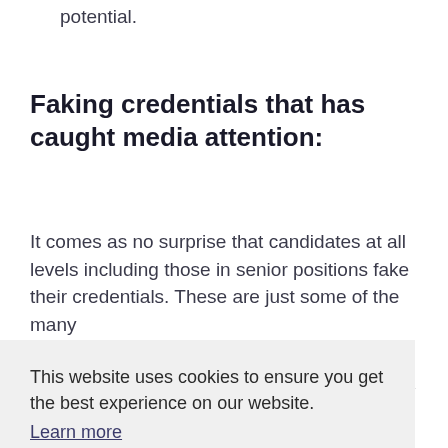potential.
Faking credentials that has caught media attention:
It comes as no surprise that candidates at all levels including those in senior positions fake their credentials. These are just some of the many
This website uses cookies to ensure you get the best experience on our website.
Learn more
Got it!
er CV
y of
application. Veronica Hilda Theriault, 45, was